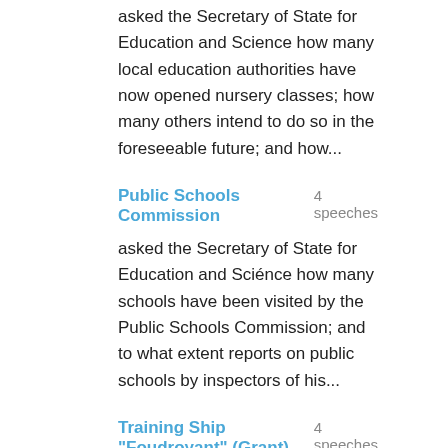asked the Secretary of State for Education and Science how many local education authorities have now opened nursery classes; how many others intend to do so in the foreseeable future; and how...
Public Schools Commission  4 speeches
asked the Secretary of State for Education and Sciénce how many schools have been visited by the Public Schools Commission; and to what extent reports on public schools by inspectors of his...
Training Ship "Foudroyant" (Grant)  4 speeches
asked the Secretary of State for Education and Science what reports he has received on the work for young people performed by the training ship "Foudroyant"; and if he will increase the grant...